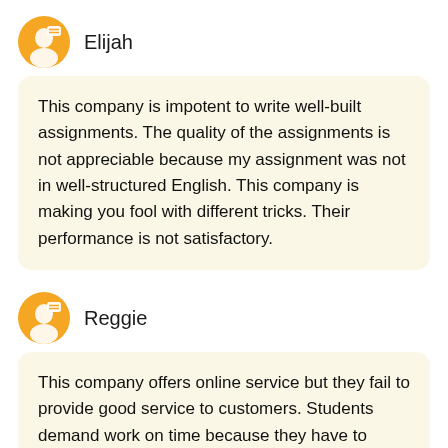Elijah
This company is impotent to write well-built assignments. The quality of the assignments is not appreciable because my assignment was not in well-structured English. This company is making you fool with different tricks. Their performance is not satisfactory.
Reggie
This company offers online service but they fail to provide good service to customers. Students demand work on time because they have to submit the paper before the deadline but this company's